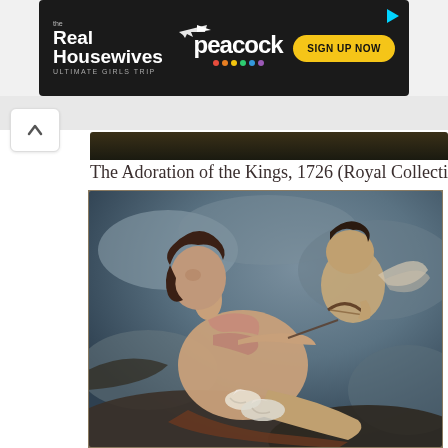[Figure (screenshot): Advertisement banner for The Real Housewives Ultimate Girls Trip on Peacock streaming service with Sign Up Now button]
The Adoration of the Kings, 1726 (Royal Collection)
[Figure (photo): Classical oil painting depicting a reclining nude female figure (Venus) with Cupid drawing a bow, and white doves, set against a cloudy sky background]